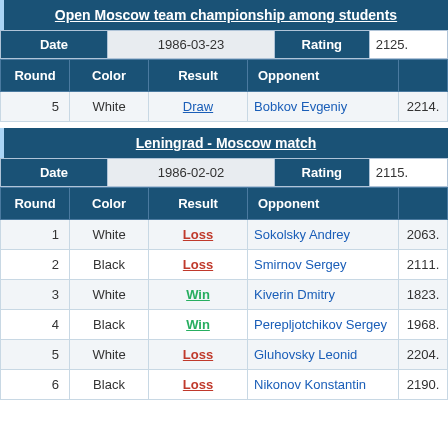Open Moscow team championship among students
| Date | 1986-03-23 | Rating | 2125. |
| --- | --- | --- | --- |
| Round | Color | Result | Opponent |  |
| --- | --- | --- | --- | --- |
| 5 | White | Draw | Bobkov Evgeniy | 2214. |
Leningrad - Moscow match
| Date | 1986-02-02 | Rating | 2115. |
| --- | --- | --- | --- |
| Round | Color | Result | Opponent |  |
| --- | --- | --- | --- | --- |
| 1 | White | Loss | Sokolsky Andrey | 2063. |
| 2 | Black | Loss | Smirnov Sergey | 2111. |
| 3 | White | Win | Kiverin Dmitry | 1823. |
| 4 | Black | Win | Perepljotchikov Sergey | 1968. |
| 5 | White | Loss | Gluhovsky Leonid | 2204. |
| 6 | Black | Loss | Nikonov Konstantin | 2190. |